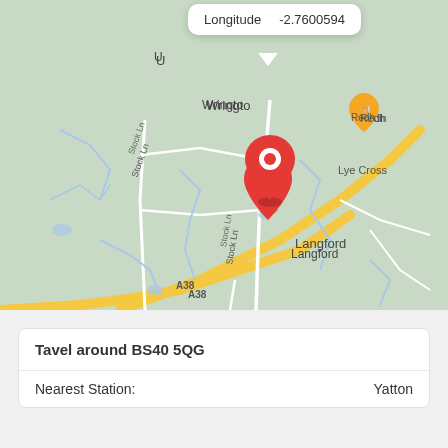[Figure (map): Google Maps screenshot showing area around Wrington, Somerset, UK. Red location pin placed at Wrington. Nearby labels include The Ethicurean restaurant, Holiday Inn Bristol Airport an IHG hotel, Lye Cross, Aldwick Estate, Langford, and road A38. Tooltip showing Longitude -2.7600594.]
Longitude    -2.7600594
Tavel around BS40 5QG
Nearest Station:    Yatton